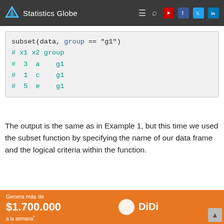Statistics Globe
[Figure (screenshot): R code block showing: subset(data, group == "g1") with output # x1 x2 group # 3 a g1 # 1 c g1 # 5 e g1]
The output is the same as in Example 1, but this time we used the subset function by specifying the name of our data frame and the logical criteria within the function.
Example 5: Subset Rows with fi[...]e]
[Figure (photo): DiDi advertisement banner: Genera más de $1.700.000 a la semana*]